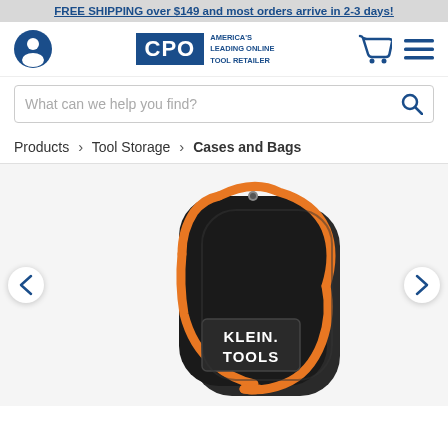FREE SHIPPING over $149 and most orders arrive in 2-3 days!
[Figure (logo): CPO - America's Leading Online Tool Retailer logo with user icon, shopping cart icon, and hamburger menu]
What can we help you find?
Products > Tool Storage > Cases and Bags
[Figure (photo): Klein Tools black and orange zippered tool case/bag with Klein Tools logo patch on front]